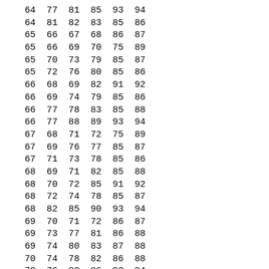| 64 | 77 | 81 | 85 | 93 | 94 |
| 64 | 81 | 82 | 83 | 85 | 86 |
| 65 | 66 | 67 | 68 | 86 | 87 |
| 65 | 66 | 69 | 70 | 75 | 89 |
| 65 | 70 | 73 | 79 | 85 | 87 |
| 65 | 72 | 76 | 80 | 85 | 86 |
| 66 | 68 | 69 | 82 | 91 | 92 |
| 66 | 69 | 74 | 79 | 85 | 86 |
| 66 | 77 | 78 | 83 | 85 | 88 |
| 66 | 77 | 88 | 89 | 93 | 94 |
| 67 | 68 | 71 | 72 | 75 | 89 |
| 67 | 69 | 76 | 77 | 85 | 87 |
| 67 | 71 | 73 | 78 | 85 | 86 |
| 68 | 69 | 71 | 82 | 85 | 88 |
| 68 | 70 | 72 | 85 | 91 | 92 |
| 68 | 72 | 74 | 78 | 85 | 87 |
| 68 | 82 | 85 | 90 | 93 | 94 |
| 69 | 70 | 71 | 72 | 86 | 87 |
| 69 | 73 | 77 | 81 | 86 | 88 |
| 69 | 74 | 80 | 83 | 87 | 88 |
| 70 | 74 | 78 | 82 | 86 | 88 |
| 70 | 76 | 80 | 86 | 93 | 94 |
| 70 | 77 | 79 | 84 | 91 | 92 |
| 71 | 73 | 75 | 86 | 93 | 94 |
| 71 | 76 | 78 | 81 | 87 | 88 |
| 72 | 74 | 81 | 90 | 91 | 92 |
| 75 | 76 | 78 | 79 | 82 | 85 |
| 75 | 77 | 80 | 81 | 83 | 89 |
| 77 | 78 | 79 | 80 | 86 | 87 |